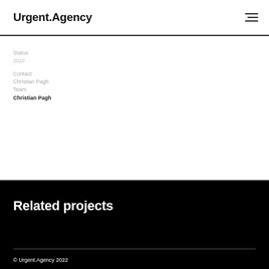Urgent.Agency
Status
2010
Contact
Christian Pagh
Team
Christian Pagh
Related projects
© Urgent.Agency 2022